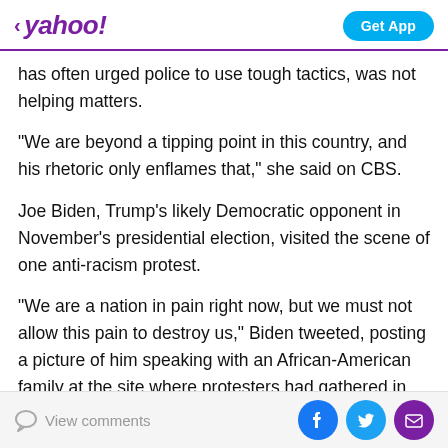< yahoo!  Get App
has often urged police to use tough tactics, was not helping matters.
"We are beyond a tipping point in this country, and his rhetoric only enflames that," she said on CBS.
Joe Biden, Trump's likely Democratic opponent in November's presidential election, visited the scene of one anti-racism protest.
"We are a nation in pain right now, but we must not allow this pain to destroy us," Biden tweeted, posting a picture of him speaking with an African-American family at the site where protesters had gathered in Delaware late Saturday.
View comments